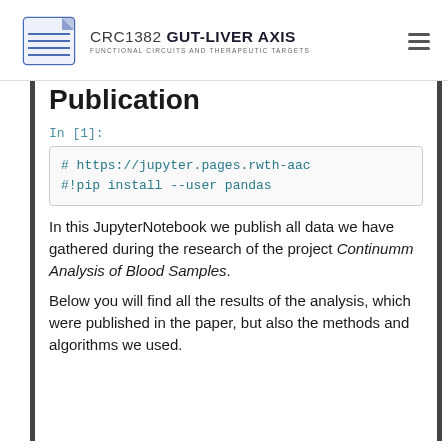CRC1382 GUT-LIVER AXIS — FUNCTIONAL CIRCUITS AND THERAPEUTIC TARGETS
Publication
In [1]:
# https://jupyter.pages.rwth-aac
#!pip install --user pandas
In this JupyterNotebook we publish all data we have gathered during the research of the project Continumm Analysis of Blood Samples.
Below you will find all the results of the analysis, which were published in the paper, but also the methods and algorithms we used.